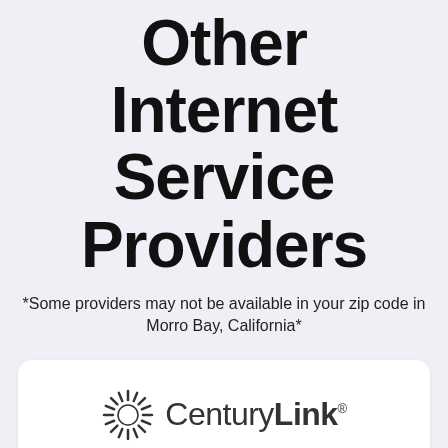Other Internet Service Providers
*Some providers may not be available in your zip code in Morro Bay, California*
[Figure (logo): CenturyLink logo with starburst icon and wordmark 'CenturyLink']
OTHER OPTIONS
CenturyLink Internet